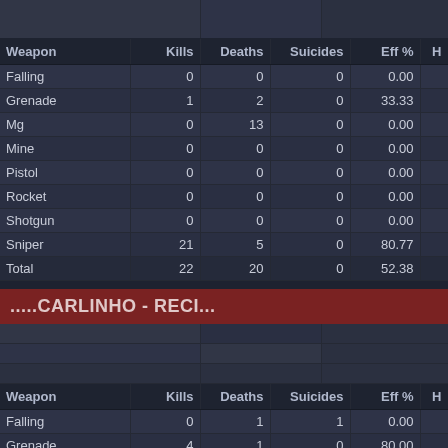| Weapon | Kills | Deaths | Suicides | Eff % | H |
| --- | --- | --- | --- | --- | --- |
| Falling | 0 | 0 | 0 | 0.00 |  |
| Grenade | 1 | 2 | 0 | 33.33 |  |
| Mg | 0 | 13 | 0 | 0.00 |  |
| Mine | 0 | 0 | 0 | 0.00 |  |
| Pistol | 0 | 0 | 0 | 0.00 |  |
| Rocket | 0 | 0 | 0 | 0.00 |  |
| Shotgun | 0 | 0 | 0 | 0.00 |  |
| Sniper | 21 | 5 | 0 | 80.77 |  |
| Total | 22 | 20 | 0 | 52.38 |  |
.....CARLINHO - RECI...
| Weapon | Kills | Deaths | Suicides | Eff % | H |
| --- | --- | --- | --- | --- | --- |
| Falling | 0 | 1 | 1 | 0.00 |  |
| Grenade | 4 | 1 | 0 | 80.00 |  |
| Mg | 26 | 20 | 0 | 56.52 |  |
| Mine | 0 | 0 | 0 | 0.00 |  |
| Pistol | 0 | 0 | 0 | 0.00 |  |
| Rocket | 0 | 1 | 0 | 0.00 |  |
| Shotgun | 0 | 3 | 0 | 0.00 |  |
| Sniper | 0 | 8 | 0 | 0.00 |  |
| Total | 30 | 34 | 1 | 46.87 |  |